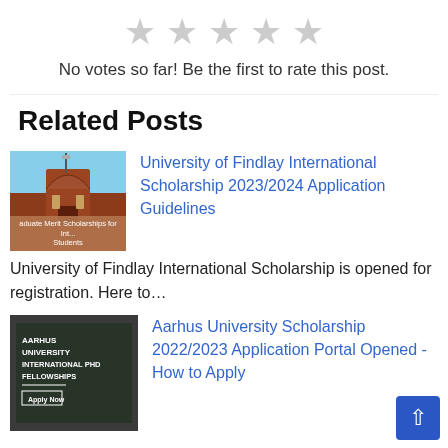[Figure (illustration): Five gray star icons in a row representing a rating widget with no votes]
No votes so far! Be the first to rate this post.
Related Posts
[Figure (photo): Photo of University of Findlay brick building arch with blue sky background, with overlay text 'Graduate Merit Scholarships for International Students']
University of Findlay International Scholarship 2023/2024 Application Guidelines
University of Findlay International Scholarship is opened for registration. Here to…
[Figure (photo): Dark image with text 'AARHUS UNIVERSITY INTERNATIONAL PHD FELLOWSHIPS' and Apply Now button]
Aarhus University Scholarship 2022/2023 Application Portal Opened - How to Apply